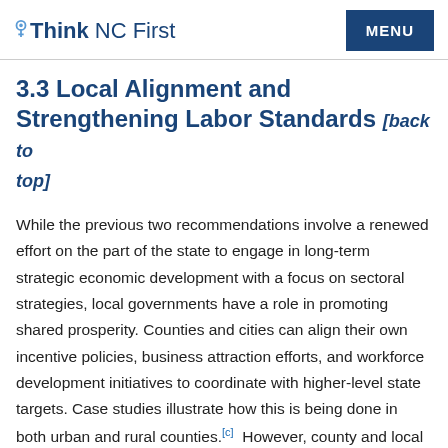Think NC First | MENU
3.3 Local Alignment and Strengthening Labor Standards [back to top]
While the previous two recommendations involve a renewed effort on the part of the state to engage in long-term strategic economic development with a focus on sectoral strategies, local governments have a role in promoting shared prosperity. Counties and cities can align their own incentive policies, business attraction efforts, and workforce development initiatives to coordinate with higher-level state targets. Case studies illustrate how this is being done in both urban and rural counties.[c]  However, county and local governments